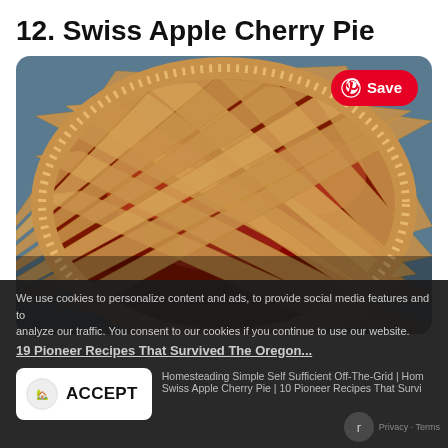12. Swiss Apple Cherry Pie
[Figure (photo): A Swiss Apple Cherry Pie with a golden lattice crust in a glass pie dish, showing dark red cherry and apple filling visible through the lattice, with a red Pinterest Save button overlay in the top right corner]
We use cookies to personalize content and ads, to provide social media features and to analyze our traffic. You consent to our cookies if you continue to use our website.
19 Pioneer Recipes That Survived The Oregon...
Homesteading Simple Self Sufficient Off-The-Grid | Hom
Swiss Apple Cherry Pie | 10 Pioneer Recipes That Survi
ACCEPT